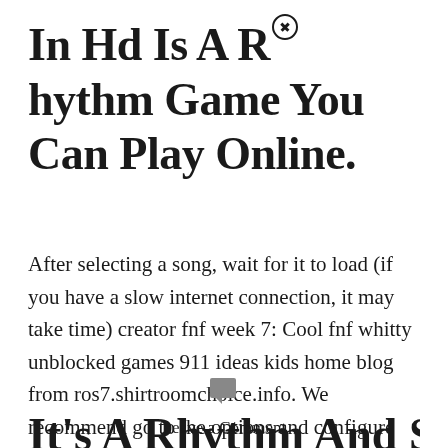In Hd Is A Rhythm Game You Can Play Online.
After selecting a song, wait for it to load (if you have a slow internet connection, it may take time) creator fnf week 7: Cool fnf whitty unblocked games 911 ideas kids home blog from ros7.shirtroomchoice.info. We recommend go to the options and configure the control.
It's A Rhythm And Singi…
Leave a Comment